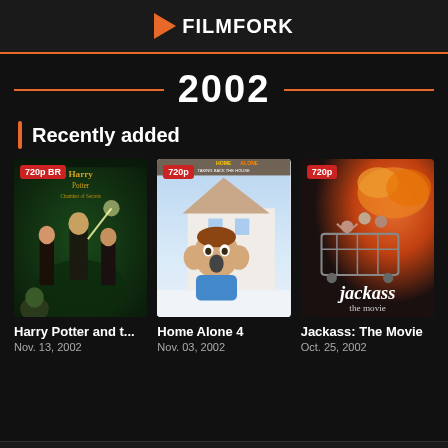FILMFORK
2002
Recently added
[Figure (photo): Movie poster for Harry Potter and the Chamber of Secrets with '720p BR' badge]
Harry Potter and t...
Nov. 13, 2002
[Figure (photo): Movie poster for Home Alone 4: Taking Back the House with '720p' badge]
Home Alone 4
Nov. 03, 2002
[Figure (photo): Movie poster for Jackass: The Movie with '720p' badge]
Jackass: The Movie
Oct. 25, 2002